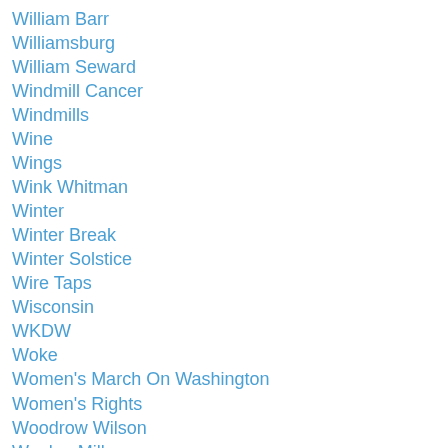William Barr
Williamsburg
William Seward
Windmill Cancer
Windmills
Wine
Wings
Wink Whitman
Winter
Winter Break
Winter Solstice
Wire Taps
Wisconsin
WKDW
Woke
Women's March On Washington
Women's Rights
Woodrow Wilson
Woolen Mills
Word Choice
Word Of The Year